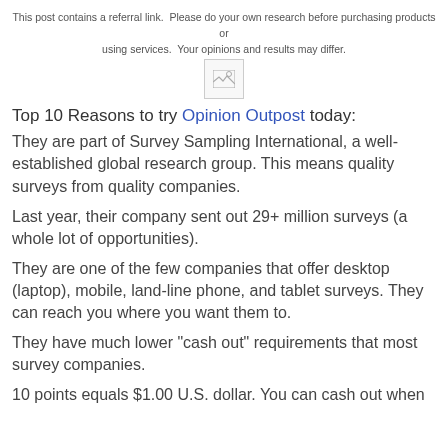This post contains a referral link.  Please do your own research before purchasing products or using services.  Your opinions and results may differ.
[Figure (illustration): Broken image placeholder icon]
Top 10 Reasons to try Opinion Outpost today:
They are part of Survey Sampling International, a well-established global research group. This means quality surveys from quality companies.
Last year, their company sent out 29+ million surveys (a whole lot of opportunities).
They are one of the few companies that offer desktop (laptop), mobile, land-line phone, and tablet surveys. They can reach you where you want them to.
They have much lower "cash out" requirements that most survey companies.
10 points equals $1.00 U.S. dollar. You can cash out when